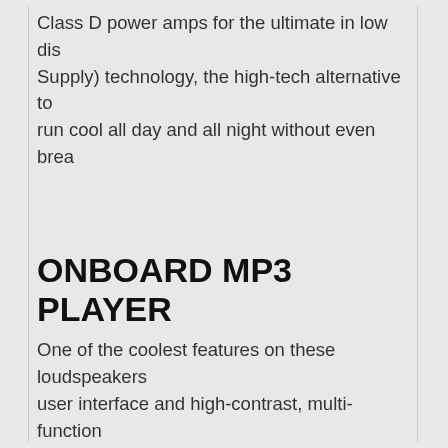Class D power amps for the ultimate in low dis... Supply) technology, the high-tech alternative to... run cool all day and all night without even brea...
ONBOARD MP3 PLAYER
One of the coolest features on these loudspeakers... user interface and high-contrast, multi-function... or single-play modes. From break and background... player can handle it all.